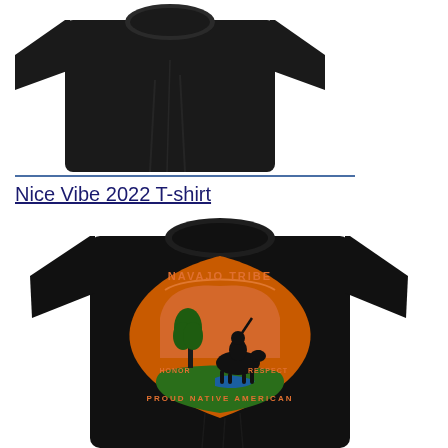[Figure (photo): Top portion of a black t-shirt, showing the upper chest and shoulders, cropped at the bottom.]
Nice Vibe 2022 T-shirt
[Figure (photo): Black t-shirt with a Navajo Tribe graphic design featuring an arrowhead shape with orange rock formations, a silhouette of a Native American on horseback, a tree, blue water, and text reading NAVAJO TRIBE, HONOR, RESPECT, PROUD NATIVE AMERICAN.]